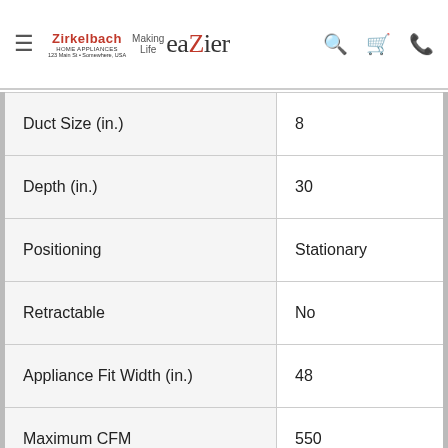Zirkelbach Home Appliances — Making Life eaZier
| Specification | Value |
| --- | --- |
| Duct Size (in.) | 8 |
| Depth (in.) | 30 |
| Positioning | Stationary |
| Retractable | No |
| Appliance Fit Width (in.) | 48 |
| Maximum CFM | 550 |
| Voltage | 115 |